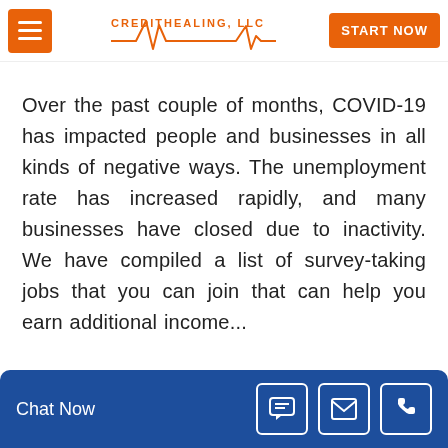Financial Assistance
[Figure (logo): CreditHealing, LLC logo with heartbeat/EKG line graphic in orange, with hamburger menu button on left and START NOW button on right]
Over the past couple of months, COVID-19 has impacted people and businesses in all kinds of negative ways. The unemployment rate has increased rapidly, and many businesses have closed due to inactivity. We have compiled a list of survey-taking jobs that you can join that can help you earn additional income...
[Figure (infographic): Blue chat bar at bottom with 'Chat Now' label and three icon buttons: chat bubble, envelope/email, and phone]